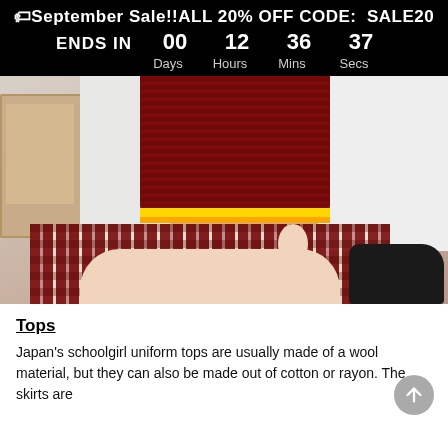🏷September Sale!!ALL 20% OFF CODE:  SALE20
ENDS IN   00   12   36   37
Days   Hours   Mins   Secs
[Figure (photo): Person wearing a dark red cable-knit sweater vest with yellow/gold stripe at the hem over a white long-sleeve shirt, a plaid skirt, and black loafers. A decorative box is visible in the background on the left.]
Tops
Japan's schoolgirl uniform tops are usually made of a wool material, but they can also be made out of cotton or rayon. The skirts are